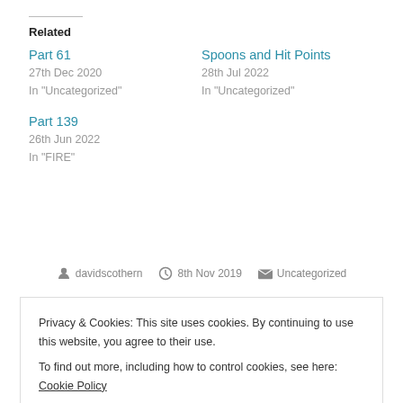Related
Part 61
27th Dec 2020
In "Uncategorized"
Spoons and Hit Points
28th Jul 2022
In "Uncategorized"
Part 139
26th Jun 2022
In "FIRE"
davidscothern   8th Nov 2019   Uncategorized
Privacy & Cookies: This site uses cookies. By continuing to use this website, you agree to their use.
To find out more, including how to control cookies, see here: Cookie Policy
Close and accept